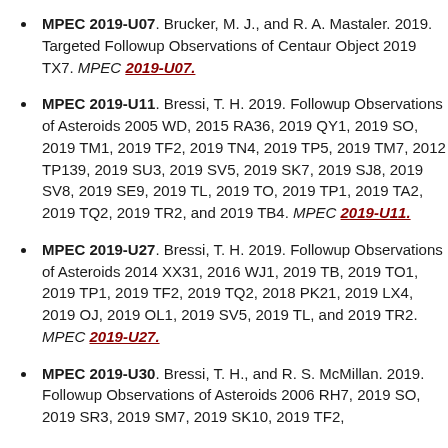MPEC 2019-U07. Brucker, M. J., and R. A. Mastaler. 2019. Targeted Followup Observations of Centaur Object 2019 TX7. MPEC 2019-U07.
MPEC 2019-U11. Bressi, T. H. 2019. Followup Observations of Asteroids 2005 WD, 2015 RA36, 2019 QY1, 2019 SO, 2019 TM1, 2019 TF2, 2019 TN4, 2019 TP5, 2019 TM7, 2012 TP139, 2019 SU3, 2019 SV5, 2019 SK7, 2019 SJ8, 2019 SV8, 2019 SE9, 2019 TL, 2019 TO, 2019 TP1, 2019 TA2, 2019 TQ2, 2019 TR2, and 2019 TB4. MPEC 2019-U11.
MPEC 2019-U27. Bressi, T. H. 2019. Followup Observations of Asteroids 2014 XX31, 2016 WJ1, 2019 TB, 2019 TO1, 2019 TP1, 2019 TF2, 2019 TQ2, 2018 PK21, 2019 LX4, 2019 OJ, 2019 OL1, 2019 SV5, 2019 TL, and 2019 TR2. MPEC 2019-U27.
MPEC 2019-U30. Bressi, T. H., and R. S. McMillan. 2019. Followup Observations of Asteroids 2006 RH7, 2019 SO, 2019 SR3, 2019 SM7, 2019 SK10, 2019 TF2...